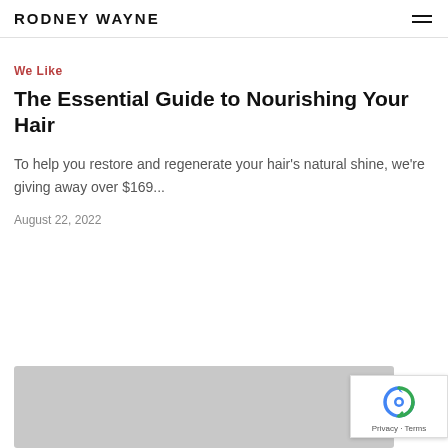RODNEY WAYNE
We Like
The Essential Guide to Nourishing Your Hair
To help you restore and regenerate your hair's natural shine, we're giving away over $169...
August 22, 2022
[Figure (photo): Gray image placeholder at bottom of page]